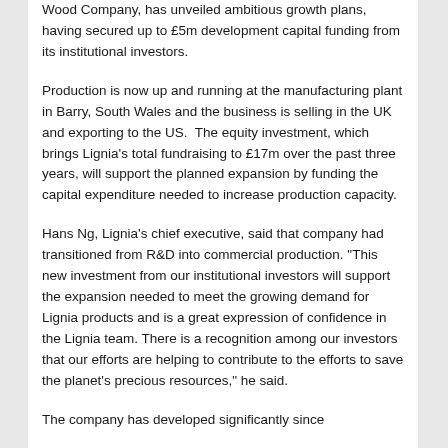Wood Company, has unveiled ambitious growth plans, having secured up to £5m development capital funding from its institutional investors.
Production is now up and running at the manufacturing plant in Barry, South Wales and the business is selling in the UK and exporting to the US.  The equity investment, which brings Lignia's total fundraising to £17m over the past three years, will support the planned expansion by funding the capital expenditure needed to increase production capacity.
Hans Ng, Lignia's chief executive, said that company had transitioned from R&D into commercial production. "This new investment from our institutional investors will support the expansion needed to meet the growing demand for Lignia products and is a great expression of confidence in the Lignia team. There is a recognition among our investors that our efforts are helping to contribute to the efforts to save the planet's precious resources," he said.
The company has developed significantly since